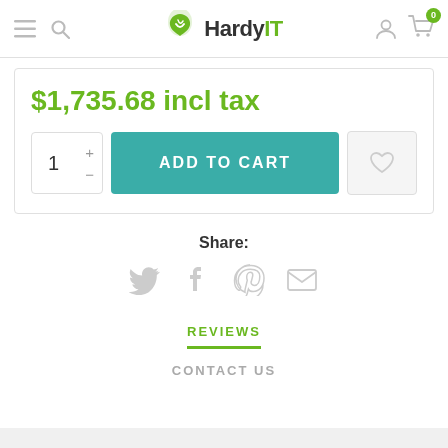HardyIT — navigation header with hamburger menu, search, user account, and cart (0 items)
$1,735.68 incl tax
ADD TO CART
Share:
[Figure (illustration): Social sharing icons: Twitter, Facebook, Pinterest, Email]
REVIEWS
CONTACT US